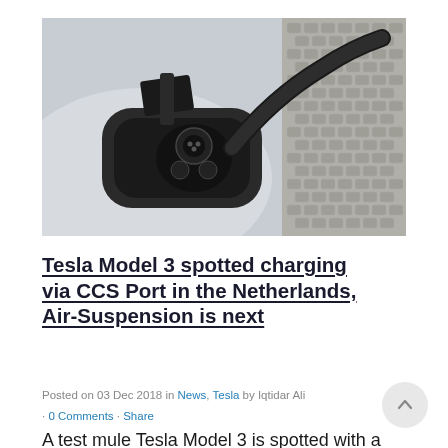[Figure (photo): Close-up photo of a Tesla Model 3 CCS charging port with a black charging connector plugged in, white car body visible, cobblestone background on the right.]
Tesla Model 3 spotted charging via CCS Port in the Netherlands, Air-Suspension is next
Posted on 03 Dec 2018 in News, Tesla by Iqtidar Ali
· 0 Comments · Share
A test mule Tesla Model 3 is spotted with a CCS charge port in